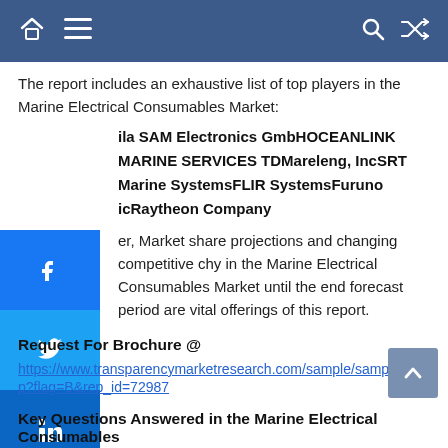Navigation bar with home, menu, search, and shuffle icons
The report includes an exhaustive list of top players in the Marine Electrical Consumables Market:
ila SAM Electronics GmbHOCEANLINK MARINE SERVICES TDMareleng, IncSRT Marine SystemsFLIR SystemsFuruno icRaytheon Company
er, Market share projections and changing competitive chy in the Marine Electrical Consumables Market until the end forecast period are vital offerings of this report.
Request For Brochure @
https://www.transparencymarketresearch.com/sample/sample.php?flag=B&rep_id=72987
Key Questions Answered in the Marine Electrical Consumables